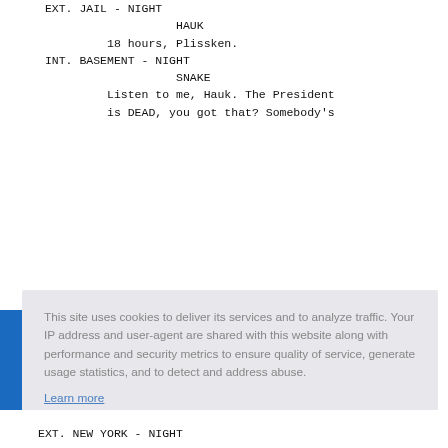EXT. JAIL - NIGHT
HAUK
18 hours, Plissken.
INT. BASEMENT - NIGHT
SNAKE
Listen to me, Hauk. The President
is DEAD, you got that? Somebody's
This site uses cookies to deliver its services and to analyze traffic. Your IP address and user-agent are shared with this website along with performance and security metrics to ensure quality of service, generate usage statistics, and to detect and address abuse.
Learn more
Got it!
EXT. NEW YORK - NIGHT